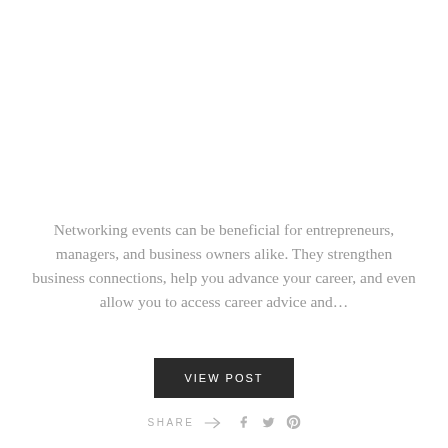Networking events can be beneficial for entrepreneurs, managers, and business owners alike. They strengthen business connections, help you advance your career, and even allow you to access career advice and...
VIEW POST
SHARE → f t p